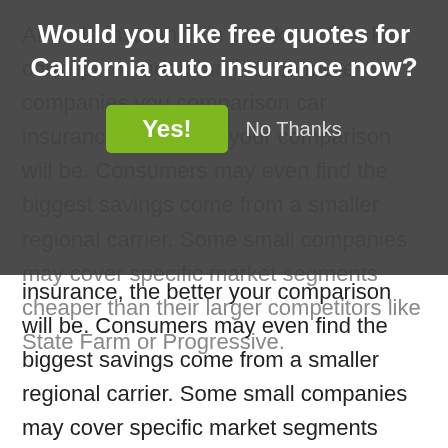[Figure (other): Modal dialog overlay with dark semi-transparent background asking 'Would you like free quotes for California auto insurance now?' with a green 'Yes!' button and 'No Thanks' text link]
Armada insurance in Stockton. The key concept to understand is the more companies you comparison car insurance, the better your comparison will be. Consumers may even find the biggest savings come from a smaller regional carrier. Some small companies may cover specific market segments cheaper than their larger competitors like State Farm or Progressive.
Cost effective Nissan Armada insurance is definitely available both online as well as from independent agents in Stockton, and you should compare price quotes from both to get a complete price analysis. Some insurance companies don't offer rates over the